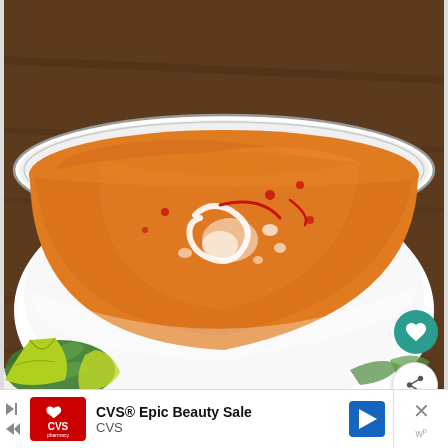[Figure (photo): A close-up photo of a white bowl of creamy orange soup (butternut squash or similar) with a swirl of cream and red sauce drizzle on top, served on a white plate. Fresh cilantro and lime wedges are visible in the foreground. The background is a dark wooden surface.]
CVS® Epic Beauty Sale
CVS